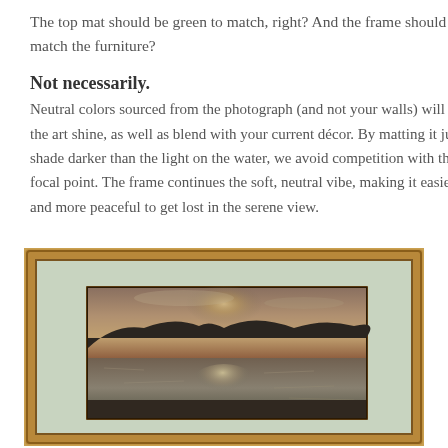The top mat should be green to match, right? And the frame should match the furniture?
Not necessarily.
Neutral colors sourced from the photograph (and not your walls) will let the art shine, as well as blend with your current décor. By matting it just a shade darker than the light on the water, we avoid competition with the focal point. The frame continues the soft, neutral vibe, making it easier and more peaceful to get lost in the serene view.
[Figure (photo): A framed photograph of a serene lake or sea view at sunset/dusk, showing silhouetted hills and water with reflected light. The frame is a warm golden-brown wood tone, and the mat is a soft pale green/sage color.]